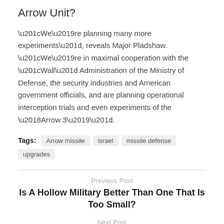Arrow Unit?
“We’re planning many more experiments”, reveals Major Pladshaw. “We’re in maximal cooperation with the “Wall” Administration of the Ministry of Defense, the security industries and American government officials, and are planning operational interception trials and even experiments of the ‘Arrow 3’”.
Tags: Arrow missile  israel  missile defense  upgrades
Previous Post
Is A Hollow Military Better Than One That Is Too Small?
Next Post